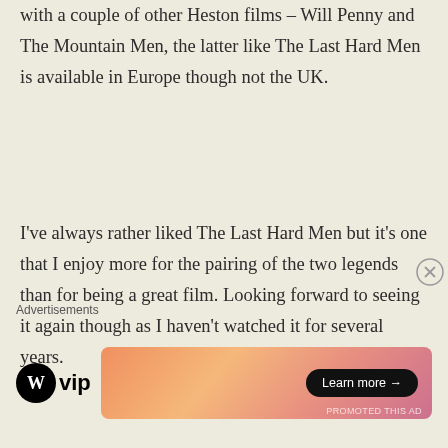with a couple of other Heston films – Will Penny and The Mountain Men, the latter like The Last Hard Men is available in Europe though not the UK.
I've always rather liked The Last Hard Men but it's one that I enjoy more for the pairing of the two legends than for being a great film. Looking forward to seeing it again though as I haven't watched it for several years.
As for McLaglen, he's rarely more than adequate but I too have a soft spot for Chisum. The shot of John Chisum looking out over his land is one
Advertisements
[Figure (other): WordPress VIP advertisement banner with gradient orange/pink background and Learn more button]